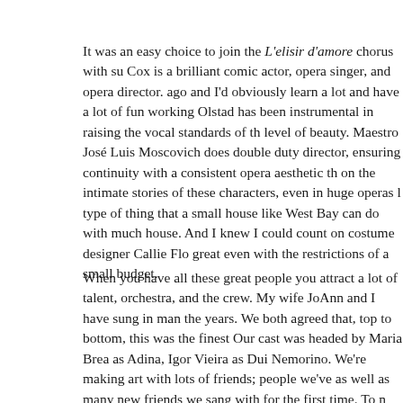It was an easy choice to join the L'elisir d'amore chorus with su Cox is a brilliant comic actor, opera singer, and opera director. ago and I'd obviously learn a lot and have a lot of fun working Olstad has been instrumental in raising the vocal standards of th level of beauty. Maestro José Luis Moscovich does double duty director, ensuring continuity with a consistent opera aesthetic th on the intimate stories of these characters, even in huge operas type of thing that a small house like West Bay can do with much house. And I knew I could count on costume designer Callie Flo great even with the restrictions of a small budget.
When you have all these great people you attract a lot of talent, orchestra, and the crew. My wife JoAnn and I have sung in man the years. We both agreed that, top to bottom, this was the fines Our cast was headed by Maria Brea as Adina, Igor Vieira as Du Nemorino. We're making art with lots of friends; people we've as well as many new friends we sang with for the first time. To with a great group of friends is a total delight.